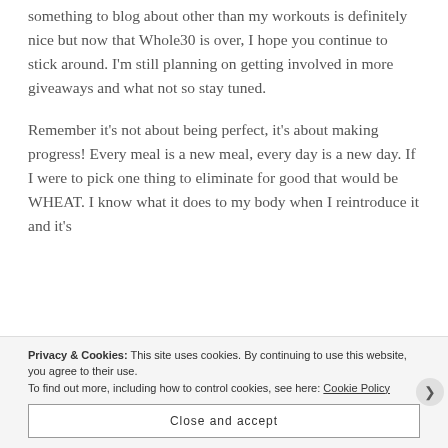something to blog about other than my workouts is definitely nice but now that Whole30 is over, I hope you continue to stick around. I'm still planning on getting involved in more giveaways and what not so stay tuned.
Remember it's not about being perfect, it's about making progress! Every meal is a new meal, every day is a new day. If I were to pick one thing to eliminate for good that would be WHEAT. I know what it does to my body when I reintroduce it and it's
Privacy & Cookies: This site uses cookies. By continuing to use this website, you agree to their use. To find out more, including how to control cookies, see here: Cookie Policy
Close and accept